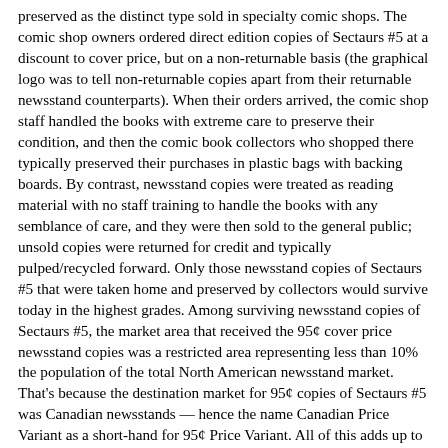preserved as the distinct type sold in specialty comic shops. The comic shop owners ordered direct edition copies of Sectaurs #5 at a discount to cover price, but on a non-returnable basis (the graphical logo was to tell non-returnable copies apart from their returnable newsstand counterparts). When their orders arrived, the comic shop staff handled the books with extreme care to preserve their condition, and then the comic book collectors who shopped there typically preserved their purchases in plastic bags with backing boards. By contrast, newsstand copies were treated as reading material with no staff training to handle the books with any semblance of care, and they were then sold to the general public; unsold copies were returned for credit and typically pulped/recycled forward. Only those newsstand copies of Sectaurs #5 that were taken home and preserved by collectors would survive today in the highest grades. Among surviving newsstand copies of Sectaurs #5, the market area that received the 95¢ cover price newsstand copies was a restricted area representing less than 10% the population of the total North American newsstand market. That's because the destination market for 95¢ copies of Sectaurs #5 was Canadian newsstands — hence the name Canadian Price Variant as a short-hand for 95¢ Price Variant. All of this adds up to a market value for the 95¢ variant approximately 225% higher than the direct edition in Very Fine / Near Mint (9.0) condition, as of our 2022 CPV Price Guide Edition.